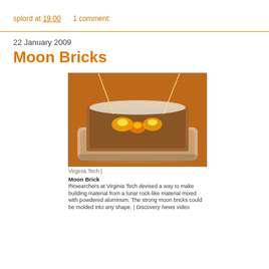splord at 19:00    1 comment:
22 January 2009
Moon Bricks
[Figure (photo): A moon brick being sintered with glowing laser light, showing a rectangular block of lunar regolith simulite in a metal tray with bright orange/yellow glow from heating elements.]
Virginia Tech |
Moon Brick
Researchers at Virginia Tech devised a way to make building material from a lunar rock-like material mixed with powdered aluminum. The strong moon bricks could be molded into any shape. | Discovery News video